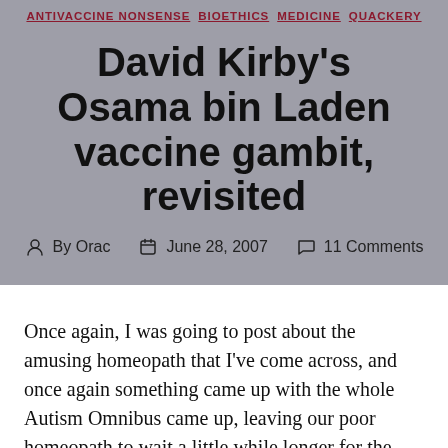ANTIVACCINE NONSENSE  BIOETHICS  MEDICINE  QUACKERY
David Kirby's Osama bin Laden vaccine gambit, revisited
By Orac   June 28, 2007   11 Comments
Once again, I was going to post about the amusing homeopath that I've come across, and once again something came up with the whole Autism Omnibus came up, leaving our poor homeopath to wait a little while longer for the loving application of a bit of Respectful Insolence™ that she so clearly craves. If